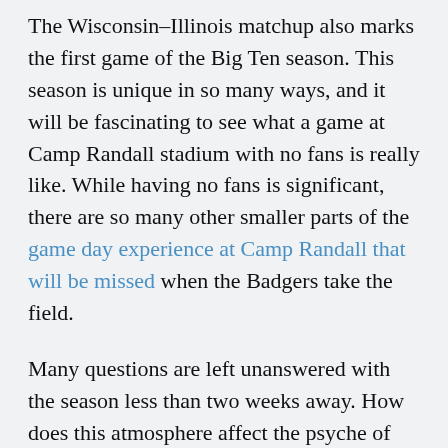The Wisconsin–Illinois matchup also marks the first game of the Big Ten season. This season is unique in so many ways, and it will be fascinating to see what a game at Camp Randall stadium with no fans is really like. While having no fans is significant, there are so many other smaller parts of the game day experience at Camp Randall that will be missed when the Badgers take the field.
Many questions are left unanswered with the season less than two weeks away. How does this atmosphere affect the psyche of young Graham Mertz in what is expected to be his first start at quarterback? How about his veteran teammates who only know what it's like to play in front of a packed house? How will the gameday experience differ from the norm and how will it affect the future of the Wisconsin gameday experience?